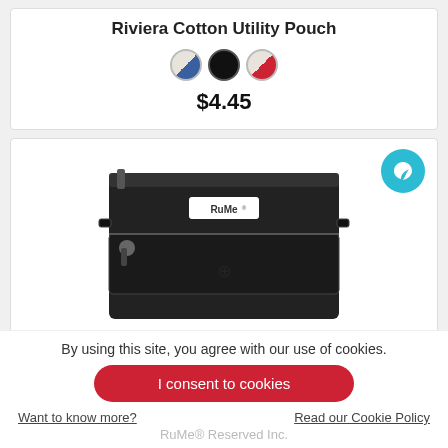Riviera Cotton Utility Pouch
$4.45
[Figure (photo): Black utility pouch/bag with zipper, RuMe brand label on front, shown against white background. A teal eco/leaf badge icon in top right corner.]
By using this site, you agree with our use of cookies.
I consent to cookies
Want to know more?
Read our Cookie Policy